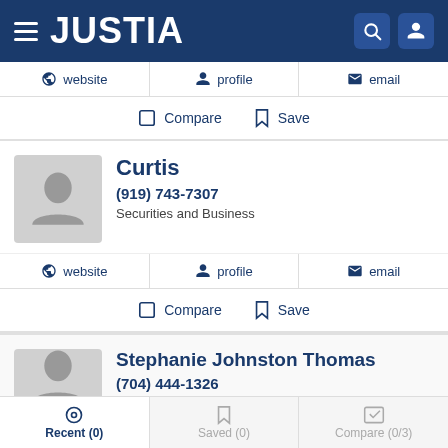JUSTIA
website | profile | email
Compare  Save
Curtis
(919) 743-7307
Securities and Business
website | profile | email
Compare  Save
Stephanie Johnston Thomas
(704) 444-1326
Recent (0)  Saved (0)  Compare (0/3)